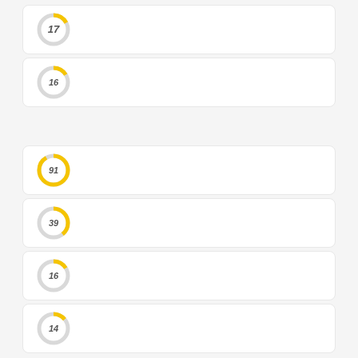[Figure (donut-chart): 17]
[Figure (donut-chart): 16]
[Figure (donut-chart): 91]
[Figure (donut-chart): 39]
[Figure (donut-chart): 16]
[Figure (donut-chart): 14]